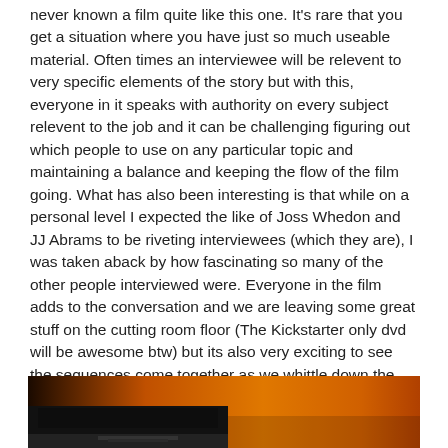never known a film quite like this one. It's rare that you get a situation where you have just so much useable material. Often times an interviewee will be relevent to very specific elements of the story but with this, everyone in it speaks with authority on every subject relevent to the job and it can be challenging figuring out which people to use on any particular topic and maintaining a balance and keeping the flow of the film going. What has also been interesting is that while on a personal level I expected the like of Joss Whedon and JJ Abrams to be riveting interviewees (which they are), I was taken aback by how fascinating so many of the other people interviewed were. Everyone in the film adds to the conversation and we are leaving some great stuff on the cutting room floor (The Kickstarter only dvd will be awesome btw) but its also very exciting to see the sequences come together as we whittle down the material.
[Figure (photo): A dark photo showing a screen or monitor with an orange/amber glowing background, partially visible in the lower portion of the page.]